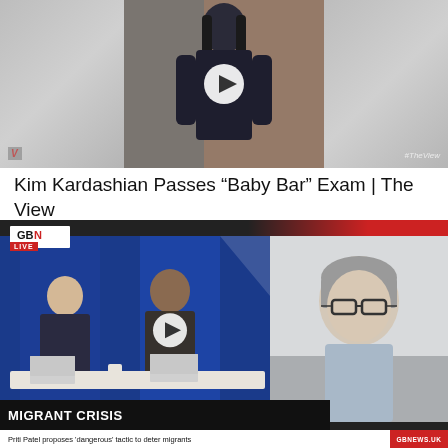[Figure (screenshot): Video thumbnail from The View showing a woman in a dark outfit standing against a brick wall background, with a play button overlay. Logo watermark in lower left, #TheView watermark in lower right.]
Kim Kardashian Passes “Baby Bar” Exam | The View
[Figure (screenshot): GB News LIVE broadcast screenshot showing two studio presenters at a desk on the left, and a grey-haired man in glasses on the right (remote guest). Lower third reads MIGRANT CRISIS with subtitle 'Priti Patel proposes dangerous tactic to deter migrants'. GBNews.uk badge in bottom right.]